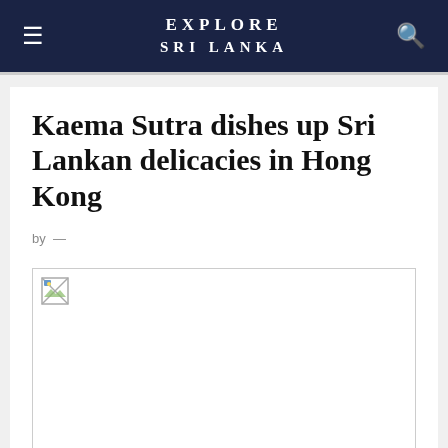EXPLORE SRI LANKA
Kaema Sutra dishes up Sri Lankan delicacies in Hong Kong
by —
[Figure (photo): Broken/loading image placeholder for article photo]